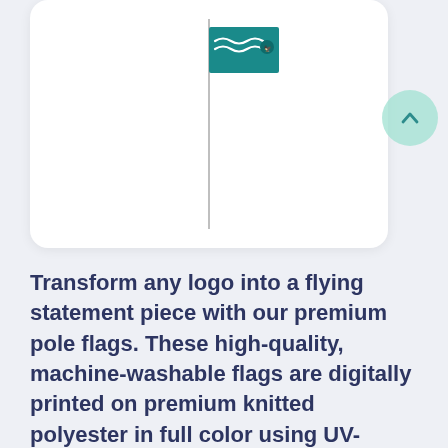[Figure (illustration): A golf-style pole flag on a thin metal pole. The flag features a teal/dark cyan color with wave-like design and a small logo. The pole extends vertically from top to bottom of the card area.]
Transform any logo into a flying statement piece with our premium pole flags. These high-quality, machine-washable flags are digitally printed on premium knitted polyester in full color using UV-treated inks. All sides complete with reinforced double-edge stitching.